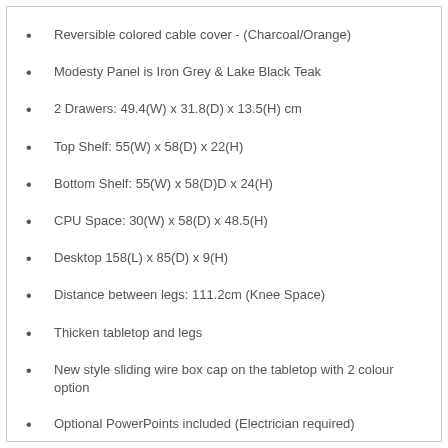Reversible colored cable cover - (Charcoal/Orange)
Modesty Panel is Iron Grey & Lake Black Teak
2 Drawers: 49.4(W) x 31.8(D) x 13.5(H) cm
Top Shelf: 55(W) x 58(D) x 22(H)
Bottom Shelf: 55(W) x 58(D)D x 24(H)
CPU Space: 30(W) x 58(D) x 48.5(H)
Desktop 158(L) x 85(D) x 9(H)
Distance between legs: 111.2cm (Knee Space)
Thicken tabletop and legs
New style sliding wire box cap on the tabletop with 2 colour option
Optional PowerPoints included (Electrician required)